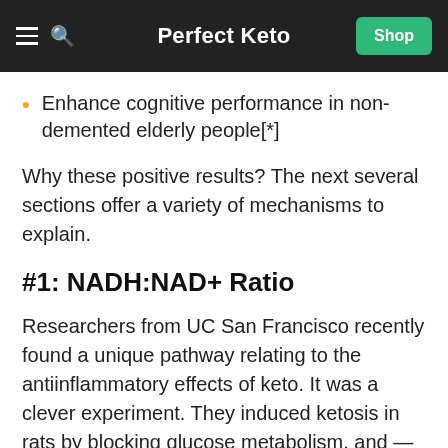Perfect Keto
Enhance cognitive performance in non-demented elderly people[*]
Why these positive results? The next several sections offer a variety of mechanisms to explain.
#1: NADH:NAD+ Ratio
Researchers from UC San Francisco recently found a unique pathway relating to the antiinflammatory effects of keto. It was a clever experiment. They induced ketosis in rats by blocking glucose metabolism, and — after a